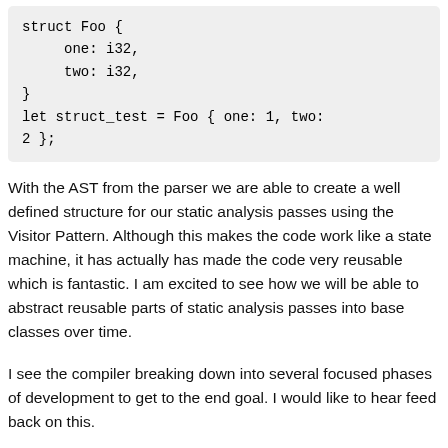[Figure (other): Code block showing a Rust struct definition and instantiation: struct Foo { one: i32, two: i32, } let struct_test = Foo { one: 1, two: 2 };]
With the AST from the parser we are able to create a well defined structure for our static analysis passes using the Visitor Pattern. Although this makes the code work like a state machine, it has actually has made the code very reusable which is fantastic. I am excited to see how we will be able to abstract reusable parts of static analysis passes into base classes over time.
I see the compiler breaking down into several focused phases of development to get to the end goal. I would like to hear feed back on this.